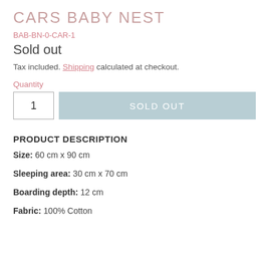CARS BABY NEST
BAB-BN-0-CAR-1
Sold out
Tax included. Shipping calculated at checkout.
Quantity
1
SOLD OUT
PRODUCT DESCRIPTION
Size: 60 cm x 90 cm
Sleeping area: 30 cm x 70 cm
Boarding depth: 12 cm
Fabric: 100% Cotton